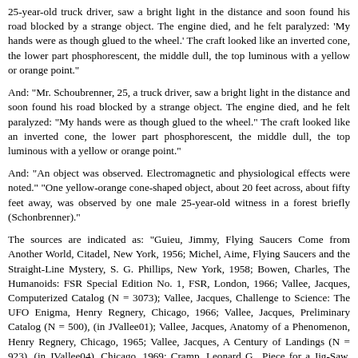25-year-old truck driver, saw a bright light in the distance and soon found his road blocked by a strange object. The engine died, and he felt paralyzed: 'My hands were as though glued to the wheel.' The craft looked like an inverted cone, the lower part phosphorescent, the middle dull, the top luminous with a yellow or orange point."
And: "Mr. Schoubrenner, 25, a truck driver, saw a bright light in the distance and soon found his road blocked by a strange object. The engine died, and he felt paralyzed: "My hands were as though glued to the wheel." The craft looked like an inverted cone, the lower part phosphorescent, the middle dull, the top luminous with a yellow or orange point."
And: "An object was observed. Electromagnetic and physiological effects were noted." "One yellow-orange cone-shaped object, about 20 feet across, about fifty feet away, was observed by one male 25-year-old witness in a forest briefly (Schonbrenner)."
The sources are indicated as: "Guieu, Jimmy, Flying Saucers Come from Another World, Citadel, New York, 1956; Michel, Aime, Flying Saucers and the Straight-Line Mystery, S. G. Phillips, New York, 1958; Bowen, Charles, The Humanoids: FSR Special Edition No. 1, FSR, London, 1966; Vallee, Jacques, Computerized Catalog (N = 3073); Vallee, Jacques, Challenge to Science: The UFO Enigma, Henry Regnery, Chicago, 1966; Vallee, Jacques, Preliminary Catalog (N = 500), (in JVallee01); Vallee, Jacques, Anatomy of a Phenomenon, Henry Regnery, Chicago, 1965; Vallee, Jacques, A Century of Landings (N = 923), (in JVallee04), Chicago, 1969; Cramp, Leonard G., Piece for a Jig-Saw, Somerton, Isle of Wight, 1966; Schoenherr, Luis, Computerized Catalog (N = 3173); Carrouges, Michel, Les Apparitions de Martiens, Fayard, Paris, 1963; Rodeghier, Mark, UFO Reports Involving Vehicle Interference, CUFOS, Chicago, 1981; Falla, Geoffrey, Vehicle Interference Project, BUFORA, London, 1979; Hatch, Larry, *U* computer database, Author, Redwood City, 2002".
[Ref. uda2:] "UFODNA" WEBSITE: